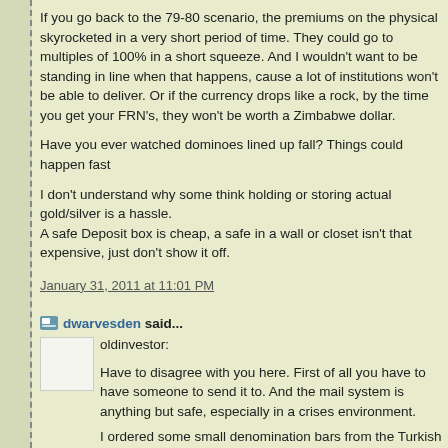If you go back to the 79-80 scenario, the premiums on the physical skyrocketed in a very short period of time. They could go to multiples of 100% in a short squeeze. And I wouldn't want to be standing in line when that happens, cause a lot of institutions won't be able to deliver. Or if the currency drops like a rock, by the time you get your FRN's, they won't be worth a Zimbabwe dollar.
Have you ever watched dominoes lined up fall? Things could happen fast
I don't understand why some think holding or storing actual gold/silver is a hassle.
A safe Deposit box is cheap, a safe in a wall or closet isn't that expensive, just don't show it off.
January 31, 2011 at 11:01 PM
dwarvesden said...
oldinvestor:
Have to disagree with you here. First of all you have to have someone to send it to. And the mail system is anything but safe, especially in a crises environment.
I ordered some small denomination bars from the Turkish mint and